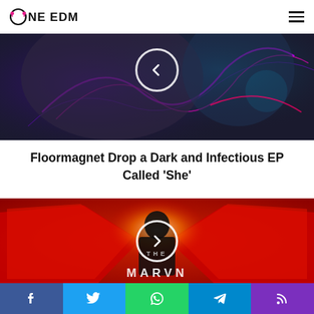OneEDM
[Figure (photo): Dark EDM music cover art with neon purple light trails and robotic/sci-fi imagery, with a circular back/previous navigation button overlay]
Floormagnet Drop a Dark and Infectious EP Called 'She'
[Figure (photo): Photo of The Marvn, a young Black man in a dark t-shirt standing in front of a stylized red and white logo background, with a circular next/play navigation button overlay and 'THE MARVN' text at bottom]
Facebook | Twitter | WhatsApp | Telegram | RSS